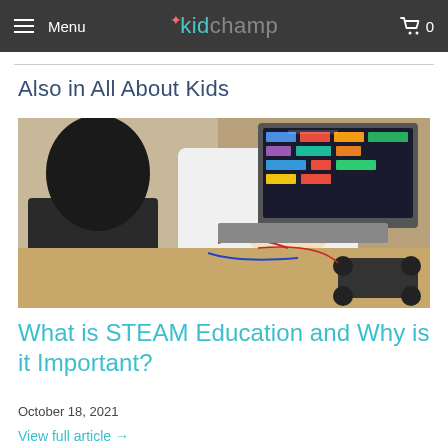Menu  kidchamp  0
Also in All About Kids
[Figure (photo): Two children working with a laptop and a small robotics car on a table, programming the robot using a laptop screen showing a colorful block-based coding interface]
What is STEAM Education and Why is it Important?
October 18, 2021
View full article →